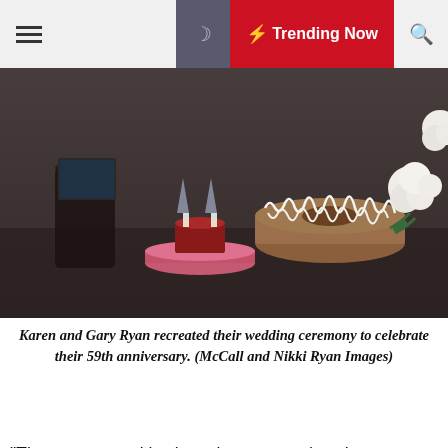☰  🌙  ⚡ Trending Now  🔍
[Figure (photo): Wedding anniversary table scene with bundt cake, champagne glasses on pink cake stand, and white roses]
Karen and Gary Ryan recreated their wedding ceremony to celebrate their 59th anniversary. (McCall and Nikki Ryan Images)
“They even now kiss just about every day, they
We use cookies on our website to give you the most relevant experience by remembering your preferences and repeat visits. By clicking “Accept All”, you consent to the use of ALL the cookies. However, you may visit "Cookie Settings" to provide a controlled consent.